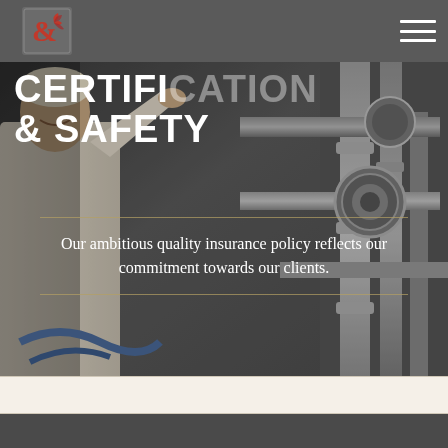[Figure (photo): Industrial/laboratory background photo showing a scientist or technician in a white lab coat working with industrial pipes and equipment, metallic tubing with flanges and connectors, dimly lit industrial setting]
CERTIFICATION & SAFETY
Our ambitious quality insurance policy reflects our commitment towards our clients.